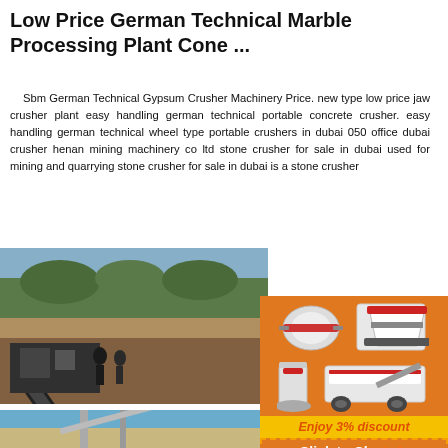Low Price German Technical Marble Processing Plant Cone ...
Sbm German Technical Gypsum Crusher Machinery Price. new type low price jaw crusher plant easy handling german technical portable concrete crusher. easy handling german technical wheel type portable crushers in dubai 050 office dubai crusher henan mining machinery co ltd stone crusher for sale in dubai used for mining and quarrying stone crusher for sale in dubai is a stone crusher
[Figure (photo): Outdoor quarry/mining site with conveyor belts and machinery visible, workers in background, mountainous terrain]
[Figure (photo): Second quarry photo showing industrial conveyor structure and equipment against blue sky]
[Figure (illustration): Orange sidebar advertisement showing multiple crusher machine illustrations with 'Enjoy 3% discount', 'Click to Chat' and 'Enquiry' sections]